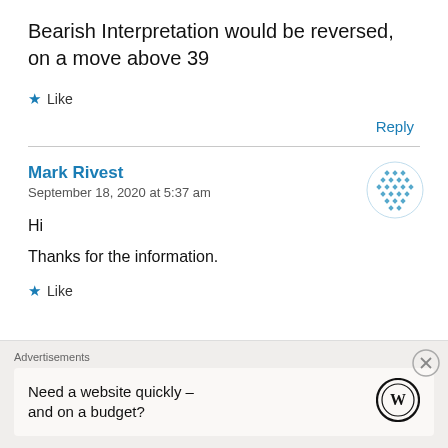Bearish Interpretation would be reversed, on a move above 39
★ Like
Reply
Mark Rivest
September 18, 2020 at 5:37 am
[Figure (illustration): User avatar icon — decorative circular mosaic pattern in teal/blue]
Hi
Thanks for the information.
★ Like
Advertisements
Need a website quickly – and on a budget?